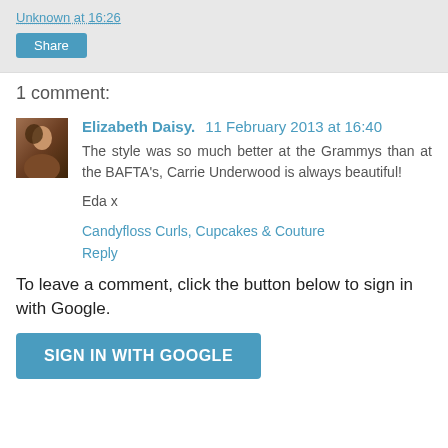Unknown at 16:26
Share
1 comment:
Elizabeth Daisy.  11 February 2013 at 16:40
The style was so much better at the Grammys than at the BAFTA's, Carrie Underwood is always beautiful!

Eda x
Candyfloss Curls, Cupcakes & Couture
Reply
To leave a comment, click the button below to sign in with Google.
SIGN IN WITH GOOGLE